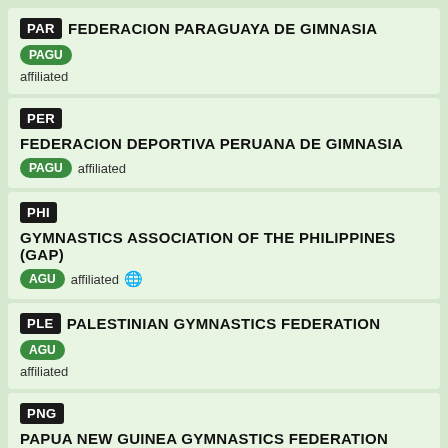PAR FEDERACION PARAGUAYA DE GIMNASIA PAGU affiliated
PER FEDERACION DEPORTIVA PERUANA DE GIMNASIA PAGU affiliated
PHI GYMNASTICS ASSOCIATION OF THE PHILIPPINES (GAP) AGU affiliated
PLE PALESTINIAN GYMNASTICS FEDERATION AGU affiliated
PNG PAPUA NEW GUINEA GYMNASTICS FEDERATION OGU affiliated
POL POLISH GYMNASTIC ASSOCIATION EG affiliated